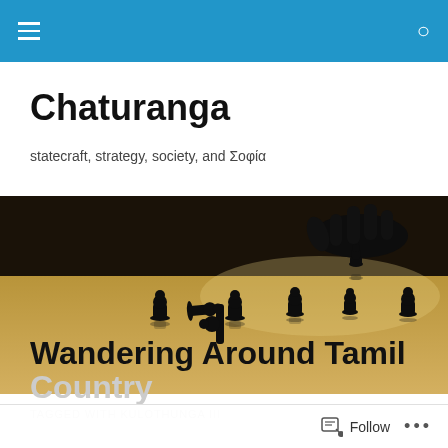Navigation bar with hamburger menu and search icon
Chaturanga
statecraft, strategy, society, and Σοφία
[Figure (photo): A hand placing a chess piece on a board with several other pieces in sepia/golden tones, viewed from a low angle]
TAGGED WITH KULOTHUNGA III
Wandering Around Tamil Country
Follow  ...